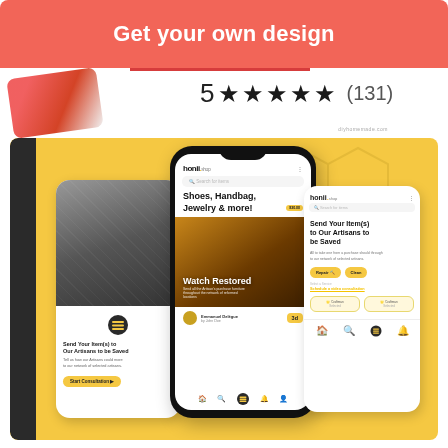Get your own design
[Figure (screenshot): Rating display showing 5 stars and (131) reviews]
[Figure (screenshot): App design mockup on yellow background showing three smartphone screens for 'honii' app with artisan repair service UI, including screens for 'Send Your Item(s) to Our Artisans to be Saved', 'Shoes, Handbag, Jewelry & more!', and 'Watch Restored' content]